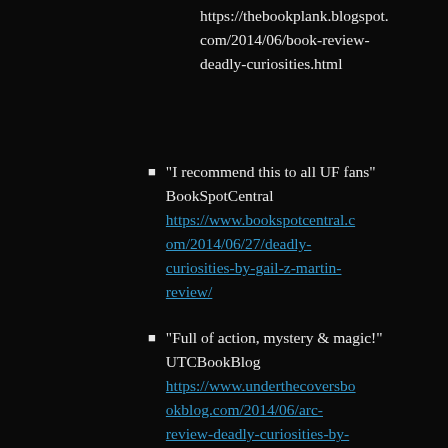https://thebookplank.blogspot.com/2014/06/book-review-deadly-curiosities.html
“I recommend this to all UF fans” BookSpotCentral https://www.bookspotcentral.com/2014/06/27/deadly-curiosities-by-gail-z-martin-review/
“Full of action, mystery & magic!” UTCBookBlog https://www.underthecoversbo okblog.com/2014/06/arc-review-deadly-curiosities-by-gail-z-martin.html
“A unique take on UF” Avid Fantasy Reviews https://avidfantasyreviews.wordpress.com/